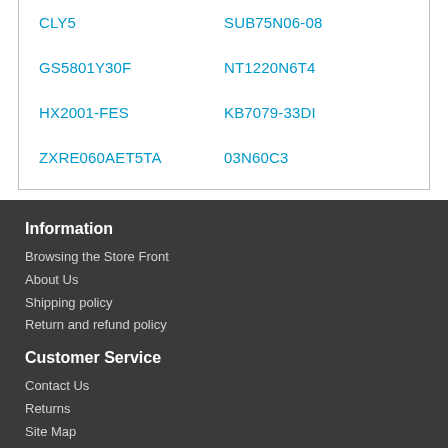| CLY5 | SUB75N06-08 |
| GS5801Y30F | NT1220N6T4 |
| HX2001-FES | KB7079-33DI |
| ZXRE060AET5TA | 03N60C3 |
Information
Browsing the Store Front
About Us
Shipping policy
Return and refund policy
Customer Service
Contact Us
Returns
Site Map